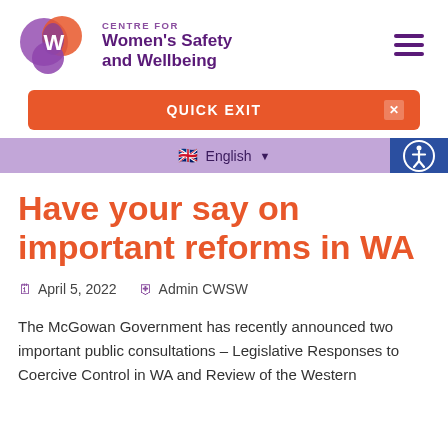[Figure (logo): Centre for Women's Safety and Wellbeing logo — overlapping purple and orange circles with a white W, beside text reading CENTRE FOR Women's Safety and Wellbeing in purple]
QUICK EXIT
English
Have your say on important reforms in WA
April 5, 2022   Admin CWSW
The McGowan Government has recently announced two important public consultations – Legislative Responses to Coercive Control in WA and Review of the Western